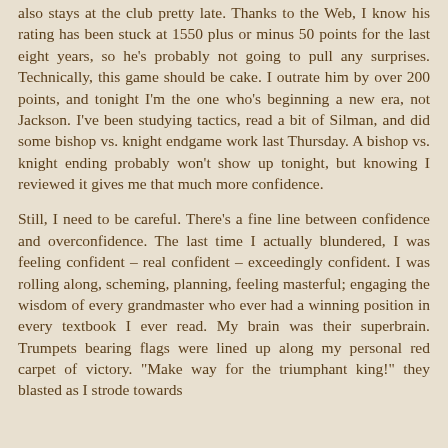also stays at the club pretty late. Thanks to the Web, I know his rating has been stuck at 1550 plus or minus 50 points for the last eight years, so he's probably not going to pull any surprises. Technically, this game should be cake. I outrate him by over 200 points, and tonight I'm the one who's beginning a new era, not Jackson. I've been studying tactics, read a bit of Silman, and did some bishop vs. knight endgame work last Thursday. A bishop vs. knight ending probably won't show up tonight, but knowing I reviewed it gives me that much more confidence.
Still, I need to be careful. There's a fine line between confidence and overconfidence. The last time I actually blundered, I was feeling confident – real confident – exceedingly confident. I was rolling along, scheming, planning, feeling masterful; engaging the wisdom of every grandmaster who ever had a winning position in every textbook I ever read. My brain was their superbrain. Trumpets bearing flags were lined up along my personal red carpet of victory. "Make way for the triumphant king!" they blasted as I strode towards